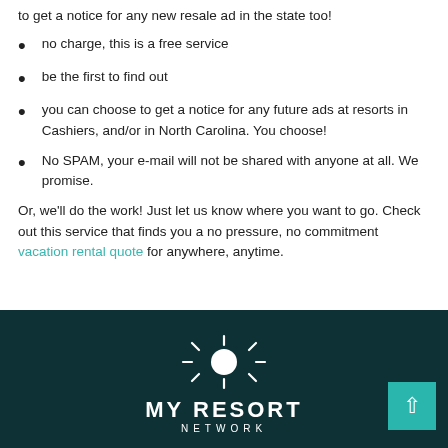to get a notice for any new resale ad in the state too!
no charge, this is a free service
be the first to find out
you can choose to get a notice for any future ads at resorts in Cashiers, and/or in North Carolina. You choose!
No SPAM, your e-mail will not be shared with anyone at all. We promise.
Or, we'll do the work! Just let us know where you want to go. Check out this service that finds you a no pressure, no commitment vacation rental quote for anywhere, anytime.
[Figure (logo): My Resort Network logo with sun icon on dark teal background]